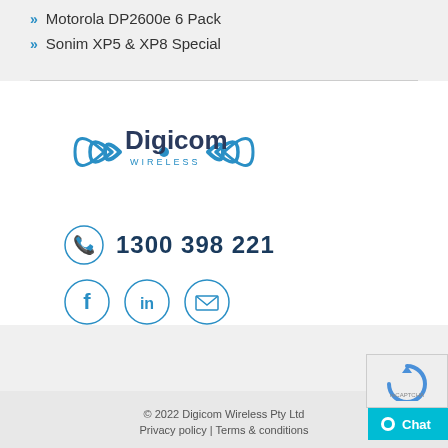» Motorola DP2600e 6 Pack
» Sonim XP5 & XP8 Special
[Figure (logo): Digicom Wireless logo with radio wave graphic and text]
1300 398 221
[Figure (infographic): Social media icons: Facebook, LinkedIn, Email]
© 2022 Digicom Wireless Pty Ltd  Privacy policy | Terms & conditions